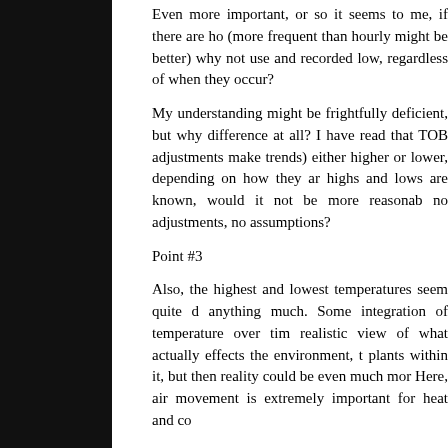Even more important, or so it seems to me, if there are ho (more frequent than hourly might be better) why not use and recorded low, regardless of when they occur?
My understanding might be frightfully deficient, but why difference at all? I have read that TOB adjustments make trends) either higher or lower, depending on how they ar highs and lows are known, would it not be more reasonab no adjustments, no assumptions?
Point #3
Also, the highest and lowest temperatures seem quite d anything much. Some integration of temperature over tim realistic view of what actually effects the environment, t plants within it, but then reality could be even much mor Here, air movement is extremely important for heat and co
The air is sometimes very still for days on end. Durin seasons, that can mean that at midnight the temperature much from the dayâ€™s high. It is difficult to lower temperature much.